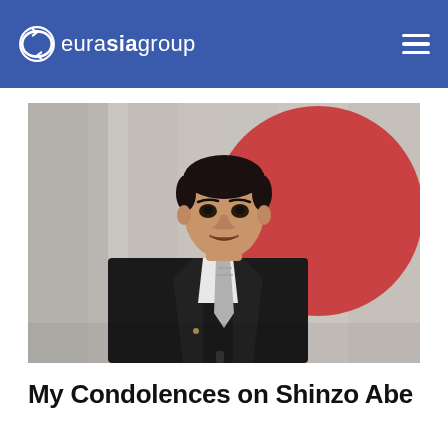eurasia group
[Figure (photo): A man in a dark suit and striped tie speaking, with a large red circle (Japanese flag) visible on a grey/white background behind him.]
My Condolences on Shinzo Abe